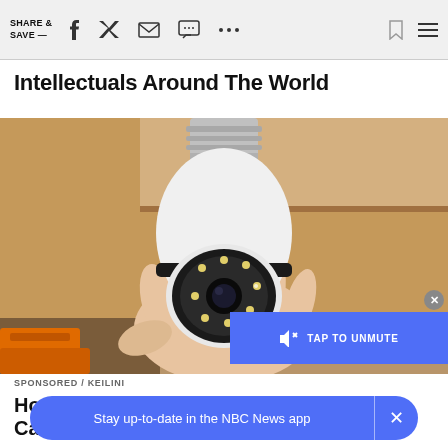SHARE & SAVE —
Intellectuals Around The World
[Figure (photo): A hand holding a white security camera shaped like a light bulb with a screw base (E27 socket) at the top, featuring a PTZ dome camera lens with surrounding LED lights at the bottom. A person's hand holds it against a wooden shelf background with an orange tool visible at lower left.]
SPONSORED / KEILINI
Ho… Cams for This.
Stay up-to-date in the NBC News app
TAP TO UNMUTE